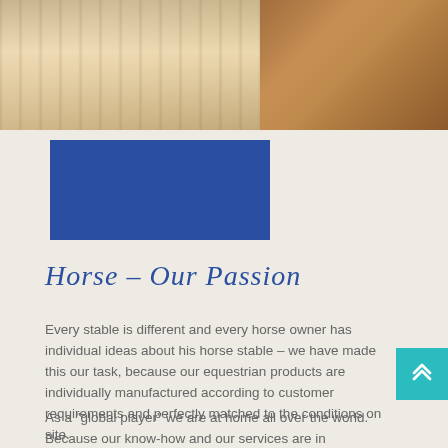[Figure (photo): Top photo strip showing two images side by side: left image shows a stable corridor with warm beige/gold tones and wooden fence slats, right image shows a brown leather boot/stirrup close-up]
[Figure (other): Blue rectangle block (company logo area) in dark blue color]
Horse – Our Passion
Every stable is different and every horse owner has individual ideas about his horse stable – we have made this our task, because our equestrian products are individually manufactured according to customer requirements and perfectly matched to the conditions on site.
As a "global player" we are at home all over the world. Because our know-how and our services are in